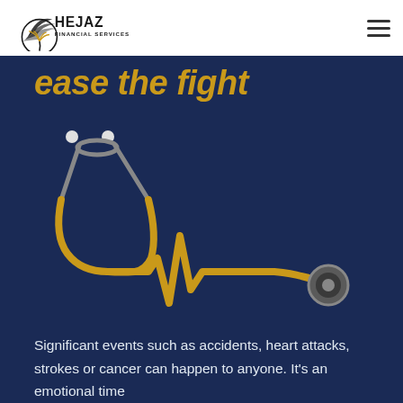[Figure (logo): Hejaz Financial Services logo with palm tree icon]
ease the fight
[Figure (illustration): Stethoscope combined with heartbeat/ECG line forming a medical graphic, gold and dark gray colors on navy background]
Significant events such as accidents, heart attacks, strokes or cancer can happen to anyone. It's an emotional time